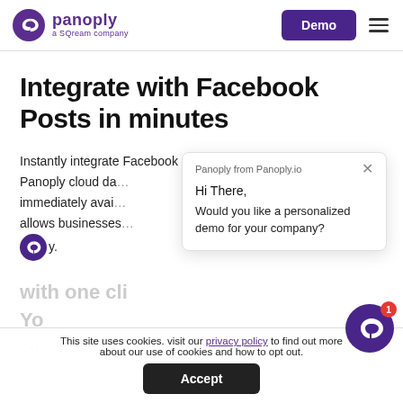panoply a SQream company | Demo
Integrate with Facebook Posts in minutes
Instantly integrate Facebook post data into the Panoply cloud da... immediately avai... allows businesses... post data a...
[Figure (screenshot): Chat popup from Panoply.io saying 'Hi There, Would you like a personalized demo for your company?']
This site uses cookies. visit our privacy policy to find out more about our use of cookies and how to opt out.
[Figure (logo): Panoply chat icon (purple circle with white arrow/sync icon) with red notification badge showing 1]